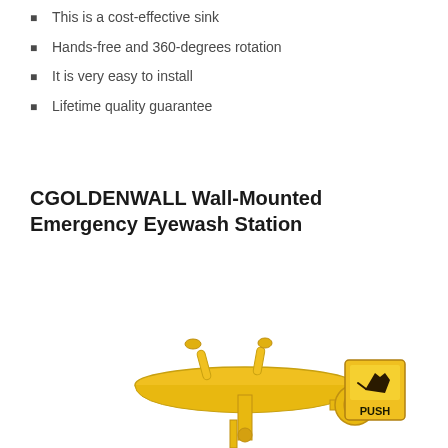This is a cost-effective sink
Hands-free and 360-degrees rotation
It is very easy to install
Lifetime quality guarantee
CGOLDENWALL Wall-Mounted Emergency Eyewash Station
[Figure (photo): Yellow wall-mounted emergency eyewash station with two eye nozzles on a basin bowl, wall-mount arm, and a yellow PUSH activation sign with hand symbol.]